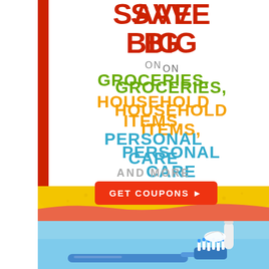SAVE BIG
ON
GROCERIES,
HOUSEHOLD ITEMS,
PERSONAL CARE
AND MORE
GET COUPONS ▶
[Figure (photo): Close-up of a sponge with a pink edge on a yellow background]
[Figure (photo): Close-up of a toothbrush with toothpaste being applied on a light blue background]